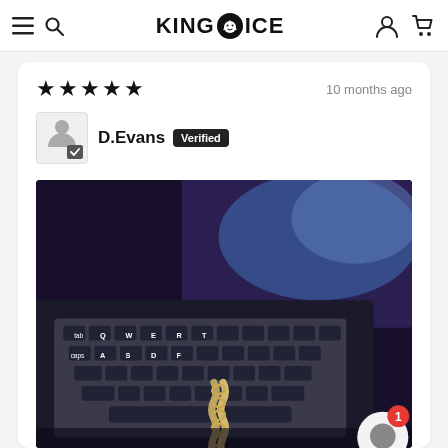KING ICE — navigation header with hamburger menu, search, logo, account and cart icons
★★★★★  10 months ago
D.Evans  Verified
[Figure (photo): Photo of a laptop keyboard (MacBook-style) with a gold/silver Cuban link chain draped in front, laptop screen showing a blue/purple image in background, low-light setting. Chat bubble button with red badge showing '1' in lower right corner.]